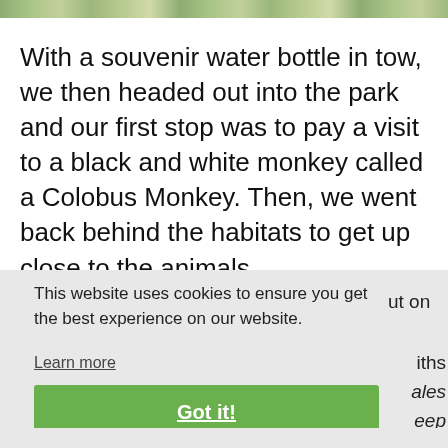[Figure (photo): Top strip showing partial nature/animal image with green and mottled colors]
With a souvenir water bottle in tow, we then headed out into the park and our first stop was to pay a visit to a black and white monkey called a Colobus Monkey. Then, we went back behind the habitats to get up close to the animals.
This website uses cookies to ensure you get the best experience on our website.
Learn more
Got it!
ut on
iths
ales
eep